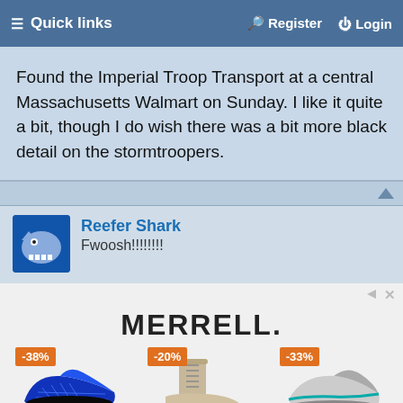Quick links | Register | Login
Found the Imperial Troop Transport at a central Massachusetts Walmart on Sunday. I like it quite a bit, though I do wish there was a bit more black detail on the stormtroopers.
Reefer Shark
Fwoosh!!!!!!!!
[Figure (photo): Merrell shoe advertisement showing three shoes with discount badges: -38%, -20%, -33%]